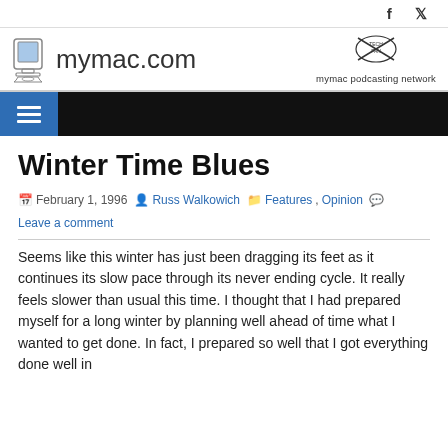f  y
[Figure (logo): mymac.com logo with illustrated Mac computer icon and site name text, plus mymac podcasting network TechFan logo on the right]
[Figure (illustration): Blue menu/hamburger button in dark navigation bar]
Winter Time Blues
February 1, 1996  Russ Walkowich  Features, Opinion  Leave a comment
Seems like this winter has just been dragging its feet as it continues its slow pace through its never ending cycle. It really feels slower than usual this time. I thought that I had prepared myself for a long winter by planning well ahead of time what I wanted to get done. In fact, I prepared so well that I got everything done well in